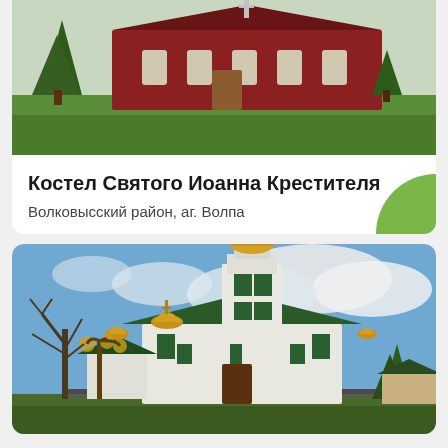[Figure (photo): Red brick church building with green lawn and trees, upper portion of card]
Костел Святого Иоанна Крестителя
Волковысский район, аг. Волпа
[Figure (photo): White orthodox church with golden domes and green roof, bare trees on left, blue cloudy sky background]